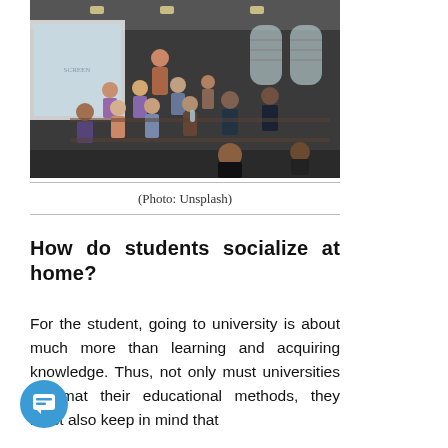[Figure (photo): A university classroom scene with students seated at desks and an instructor at the front near a projector screen. The room has arched windows and dim lighting.]
(Photo: Unsplash)
How do students socialize at home?
For the student, going to university is about much more than learning and acquiring knowledge. Thus, not only must universities reformat their educational methods, they must also keep in mind that